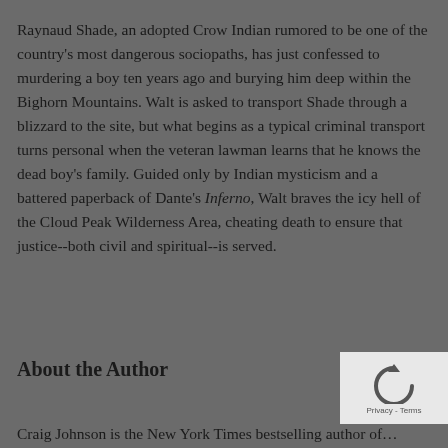Raynaud Shade, an adopted Crow Indian rumored to be one of the country's most dangerous sociopaths, has just confessed to murdering a boy ten years ago and burying him deep within the Bighorn Mountains. Walt is asked to transport Shade through a blizzard to the site, but what begins as a typical criminal transport turns personal when the veteran lawman learns that he knows the dead boy's family. Guided only by Indian mysticism and a battered paperback of Dante's Inferno, Walt braves the icy hell of the Cloud Peak Wilderness Area, cheating death to ensure that justice--both civil and spiritual--is served.
About the Author
Craig Johnson is the New York Times bestselling author of...
[Figure (other): reCAPTCHA widget showing circular arrow icon with Privacy and Terms text]